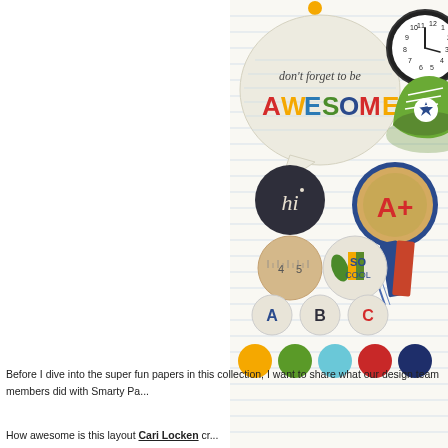[Figure (illustration): Scrapbooking/craft product page showing school-themed decorative elements on lined paper background: speech bubble with 'don't forget to be AWESOME' text, clock, green sneaker, 'hi' chalkboard circle, A+ ribbon badge with plaid ribbon, ruler circle, 'SO COOL' circle, letter circles A B C, and color dot swatches (yellow, green, light blue, red, navy).]
Before I dive into the super fun papers in this collection, I want to share what our design team members did with Smarty Pa...
How awesome is this layout Cari Locken cr...